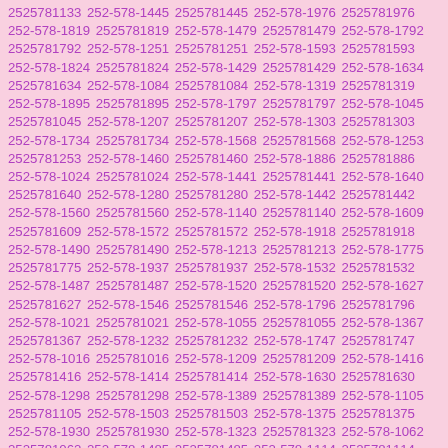2525781133 252-578-1445 2525781445 252-578-1976 2525781976 252-578-1819 2525781819 252-578-1479 2525781479 252-578-1792 2525781792 252-578-1251 2525781251 252-578-1593 2525781593 252-578-1824 2525781824 252-578-1429 2525781429 252-578-1634 2525781634 252-578-1084 2525781084 252-578-1319 2525781319 252-578-1895 2525781895 252-578-1797 2525781797 252-578-1045 2525781045 252-578-1207 2525781207 252-578-1303 2525781303 252-578-1734 2525781734 252-578-1568 2525781568 252-578-1253 2525781253 252-578-1460 2525781460 252-578-1886 2525781886 252-578-1024 2525781024 252-578-1441 2525781441 252-578-1640 2525781640 252-578-1280 2525781280 252-578-1442 2525781442 252-578-1560 2525781560 252-578-1140 2525781140 252-578-1609 2525781609 252-578-1572 2525781572 252-578-1918 2525781918 252-578-1490 2525781490 252-578-1213 2525781213 252-578-1775 2525781775 252-578-1937 2525781937 252-578-1532 2525781532 252-578-1487 2525781487 252-578-1520 2525781520 252-578-1627 2525781627 252-578-1546 2525781546 252-578-1796 2525781796 252-578-1021 2525781021 252-578-1055 2525781055 252-578-1367 2525781367 252-578-1232 2525781232 252-578-1747 2525781747 252-578-1016 2525781016 252-578-1209 2525781209 252-578-1416 2525781416 252-578-1414 2525781414 252-578-1630 2525781630 252-578-1298 2525781298 252-578-1389 2525781389 252-578-1105 2525781105 252-578-1503 2525781503 252-578-1375 2525781375 252-578-1930 2525781930 252-578-1323 2525781323 252-578-1062 2525781062 252-578-1485 2525781485 252-578-1114 2525781114 252-578-1377 2525781377 252-578-1188 2525781188 252-578-1094 2525781094 252-578-1020 2525781020 252-578-1536 2525781536